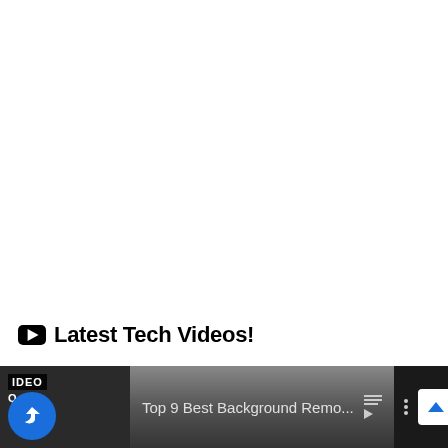Latest Tech Videos!
[Figure (screenshot): A YouTube video player strip showing a video titled 'Top 9 Best Background Remo...' with a share button (blue circle with arrow), a playlist/queue icon, a three-dot menu, and a scroll-up arrow button. The left side shows a dark video thumbnail area with 'VIDEO' and 'Q' text.]